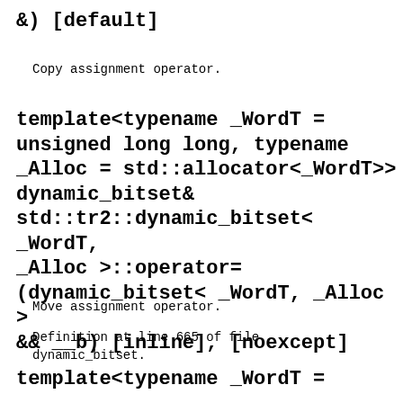&) [default]
Copy assignment operator.
template<typename _WordT =
unsigned long long, typename
_Alloc = std::allocator<_WordT>>
dynamic_bitset&
std::tr2::dynamic_bitset< _WordT,
_Alloc >::operator=
(dynamic_bitset< _WordT, _Alloc >
&& __b) [inline], [noexcept]
Move assignment operator.
Definition at line 665 of file
dynamic_bitset.
template<typename _WordT =